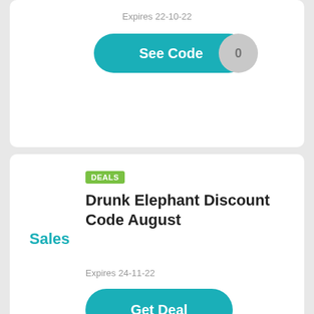Expires 22-10-22
See Code
Sales
DEALS
Drunk Elephant Discount Code August
Expires 24-11-22
Get Deal
$80
DEALS
Save $80 ON Drunk Elephant Any Order
Expires 22-10-22